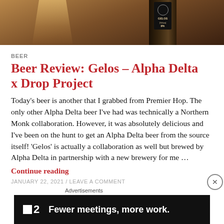[Figure (photo): Top portion of a beer in a glass with a bottle of Gelos IPA beer (Alpha Delta x Drop Project collaboration) on a dark background]
BEER
Beer Review: Gelos – Alpha Delta x Drop Project
Today's beer is another that I grabbed from Premier Hop. The only other Alpha Delta beer I've had was technically a Northern Monk collaboration. However, it was absolutely delicious and I've been on the hunt to get an Alpha Delta beer from the source itself! 'Gelos' is actually a collaboration as well but brewed by Alpha Delta in partnership with a new brewery for me …
Continue reading
JANUARY 22, 2021 / LEAVE A COMMENT
Advertisements
[Figure (screenshot): Advertisement banner with black background showing Plan logo and text 'Fewer meetings, more work.']